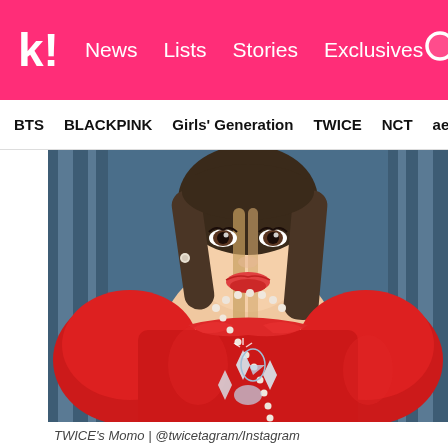k! News Lists Stories Exclusives
BTS BLACKPINK Girls' Generation TWICE NCT aespa
[Figure (photo): TWICE's Momo wearing a red puffy-sleeved ornate dress with pearl necklace and crystal embellishments, posing against a blue curtain background]
TWICE's Momo | @twicetagram/Instagram